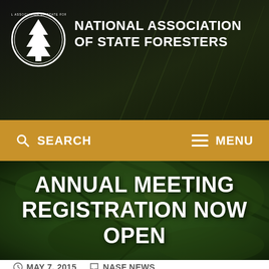NATIONAL ASSOCIATION OF STATE FORESTERS
SEARCH   MENU
ANNUAL MEETING REGISTRATION NOW OPEN
MAY 7, 2015   NASF NEWS
[Figure (other): Social media share buttons: Facebook, Twitter, LinkedIn, Pinterest]
[Figure (photo): Forest/pine tree branches background photo for hero section]